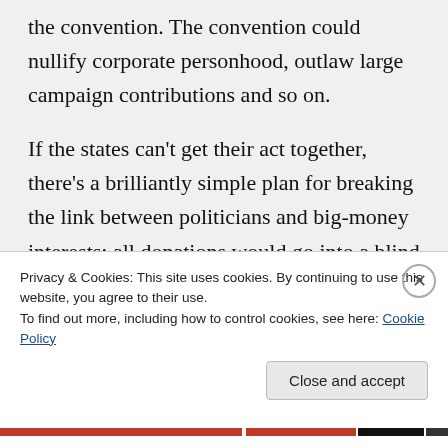the convention. The convention could nullify corporate personhood, outlaw large campaign contributions and so on.
If the states can't get their act together, there's a brilliantly simple plan for breaking the link between politicians and big-money interests: all donations would go into a blind trust so that the politicians would
Privacy & Cookies: This site uses cookies. By continuing to use this website, you agree to their use.
To find out more, including how to control cookies, see here: Cookie Policy
Close and accept